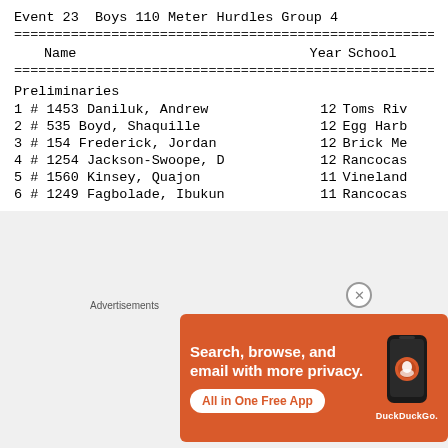Event 23  Boys 110 Meter Hurdles Group 4
| Name | Year | School |
| --- | --- | --- |
| 1 # 1453 Daniluk, Andrew | 12 | Toms Riv |
| 2 #  535 Boyd, Shaquille | 12 | Egg Harb |
| 3 #  154 Frederick, Jordan | 12 | Brick Me |
| 4 # 1254 Jackson-Swoope, D | 12 | Rancocas |
| 5 # 1560 Kinsey, Quajon | 11 | Vineland |
| 6 # 1249 Fagbolade, Ibukun | 11 | Rancocas |
[Figure (screenshot): DuckDuckGo advertisement banner: 'Search, browse, and email with more privacy. All in One Free App' with phone image and DuckDuckGo logo]